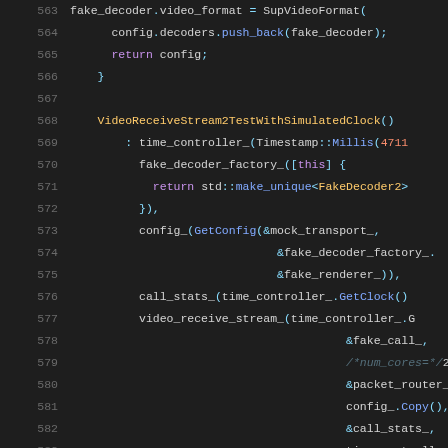[Figure (screenshot): Source code listing lines 563–584 of a C++ file (video receive stream test), shown in a dark code editor theme with syntax highlighting. Colors: purple for keywords, blue for method names, yellow for class names, gray for line numbers, teal for punctuation/operators, green for comments.]